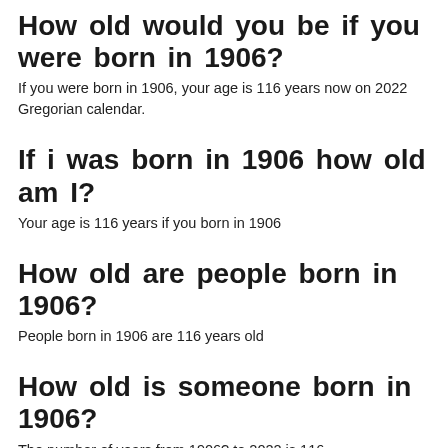How old would you be if you were born in 1906?
If you were born in 1906, your age is 116 years now on 2022 Gregorian calendar.
If i was born in 1906 how old am I?
Your age is 116 years if you born in 1906
How old are people born in 1906?
People born in 1906 are 116 years old
How old is someone born in 1906?
The number of years from 1906? to 2022 is 116